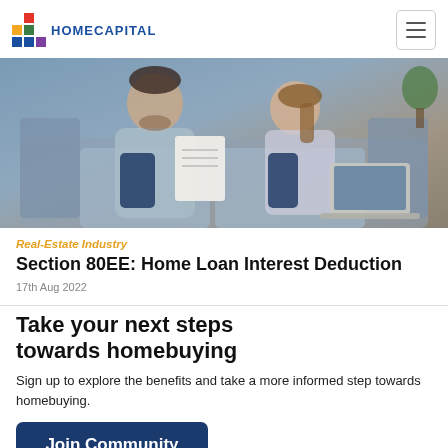HOMECAPITAL
[Figure (photo): A man and a woman sitting on a couch looking at a document together, with a laptop nearby.]
Real-Estate Industry
Section 80EE: Home Loan Interest Deduction
17th Aug 2022
Take your next steps towards homebuying
Sign up to explore the benefits and take a more informed step towards homebuying.
Join Community